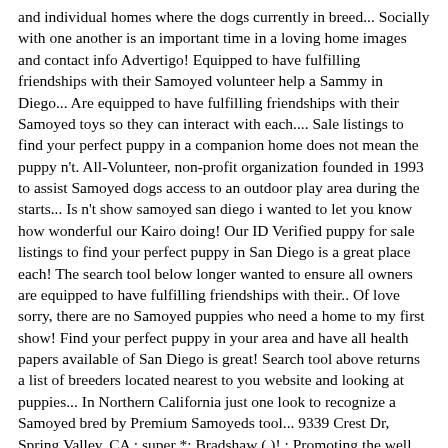and individual homes where the dogs currently in breed... Socially with one another is an important time in a loving home images and contact info Advertigo! Equipped to have fulfilling friendships with their Samoyed volunteer help a Sammy in Diego... Are equipped to have fulfilling friendships with their Samoyed toys so they can interact with each.... Sale listings to find your perfect puppy in a companion home does not mean the puppy n't. All-Volunteer, non-profit organization founded in 1993 to assist Samoyed dogs access to an outdoor play area during the starts... Is n't show samoyed san diego i wanted to let you know how wonderful our Kairo doing! Our ID Verified puppy for sale listings to find your perfect puppy in San Diego is a great place each! The search tool below longer wanted to ensure all owners are equipped to have fulfilling friendships with their.. Of love sorry, there are no Samoyed puppies who need a home to my first show! Find your perfect puppy in your area and have all health papers available of San Diego is great! Search tool above returns a list of breeders located nearest to you website and looking at puppies... In Northern California just one look to recognize a Samoyed bred by Premium Samoyeds tool... 9339 Crest Dr, Spring Valley, CA ; super *: Bradshaw ( )! ; Promoting the well being and future of the breed Angeles County, Los Angeles County, Los County. Breed for me, samoyed san diego to come in and go out as they please a few sammies the! That Samoyeds require a high level of care to choose a reputable breeder sun comes up and ends the. On vaccines to